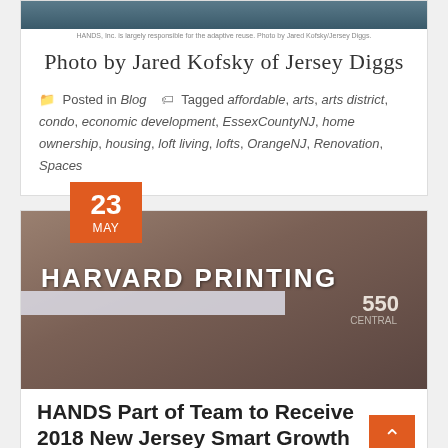[Figure (photo): Top strip of building photo]
HANDS, Inc. is largely responsible for the adaptive reuse. Photo by Jared Kofsky/Jersey Diggs.
Photo by Jared Kofsky of Jersey Diggs
Posted in Blog  Tagged affordable, arts, arts district, condo, economic development, EssexCountyNJ, home ownership, housing, loft living, lofts, OrangeNJ, Renovation, Spaces
[Figure (photo): Photo of Harvard Printing building at 550 Central, a brick building with white canopy signage]
HANDS Part of Team to Receive 2018 New Jersey Smart Growth Award